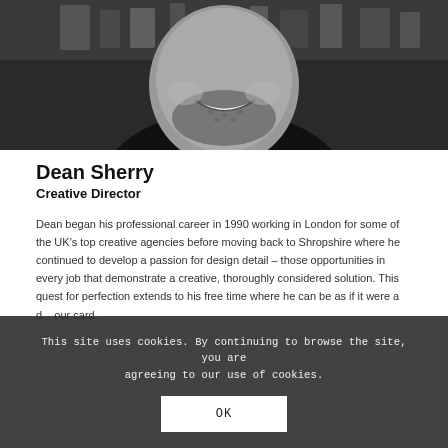[Figure (photo): Black and white photo of Dean Sherry, a smiling bearded man, cropped to show face and upper body against a blurred background of shelves/items]
Dean Sherry
Creative Director
Dean began his professional career in 1990 working in London for some of the UK's top creative agencies before moving back to Shropshire where he continued to develop a passion for design detail – those opportunities in every job that demonstrate a creative, thoroughly considered solution. This quest for perfection extends to his free time where he can be as if it were a d... our card.
This site uses cookies. By continuing to browse the site, you are agreeing to our use of cookies.
OK